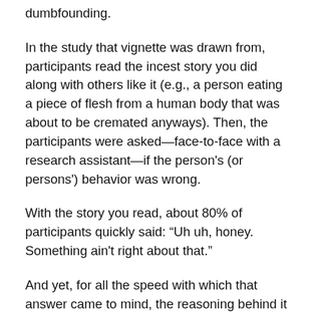dumbfounding.
In the study that vignette was drawn from, participants read the incest story you did along with others like it (e.g., a person eating a piece of flesh from a human body that was about to be cremated anyways). Then, the participants were asked—face-to-face with a research assistant—if the person's (or persons') behavior was wrong.
With the story you read, about 80% of participants quickly said: “Uh uh, honey. Something ain't right about that.”
And yet, for all the speed with which that answer came to mind, the reasoning behind it was difficult to articulate. On average, it took about 13 seconds before a participant was able to effectively provide a